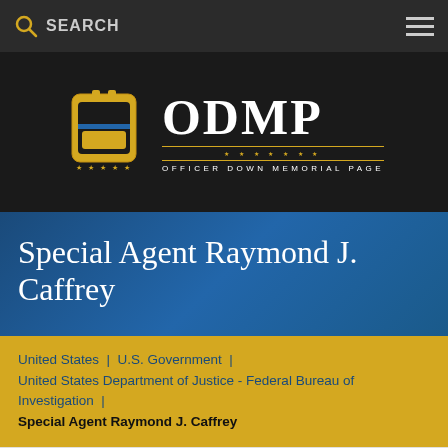SEARCH
[Figure (logo): Officer Down Memorial Page (ODMP) logo with badge icon and text]
Special Agent Raymond J. Caffrey
United States | U.S. Government | United States Department of Justice - Federal Bureau of Investigation | Special Agent Raymond J. Caffrey
[Figure (photo): Black and white photograph of Special Agent Raymond J. Caffrey, partially visible at bottom of page]